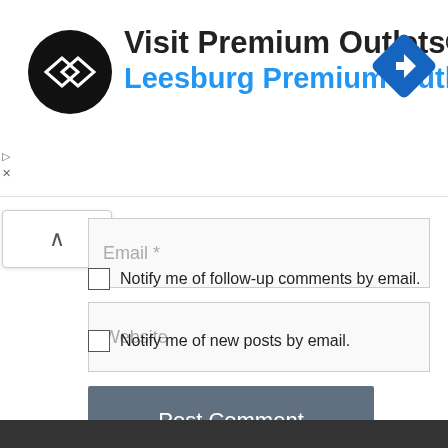[Figure (screenshot): Advertisement banner for Visit Premium Outlets® - Leesburg Premium Outlets, with a circular black logo containing a double-headed arrow icon, and a blue diamond navigation icon on the right.]
Email *
Website
Post Comment
Notify me of follow-up comments by email.
Notify me of new posts by email.